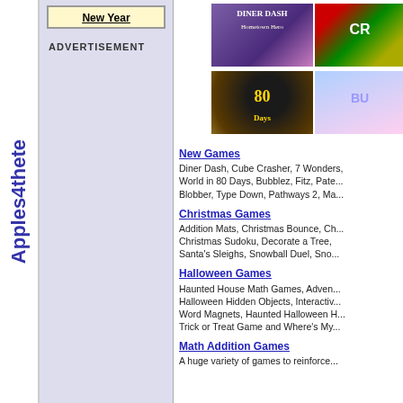Apples4theteacher
New Year
ADVERTISEMENT
[Figure (screenshot): Four game thumbnails: Diner Dash Hometown Hero (purple background), Cube Crasher (colorful blocks), 80 Days (dark circular badge), and Bubblez (blue/pink background)]
New Games
Diner Dash, Cube Crasher, 7 Wonders, World in 80 Days, Bubblez, Fitz, Patch Blobber, Type Down, Pathways 2, Ma...
Christmas Games
Addition Mats, Christmas Bounce, Christmas Sudoku, Decorate a Tree, Santa's Sleighs, Snowball Duel, Sno...
Halloween Games
Haunted House Math Games, Adventure Halloween Hidden Objects, Interactive Word Magnets, Haunted Halloween H... Trick or Treat Game and Where's My...
Math Addition Games
A huge variety of games to reinforce...